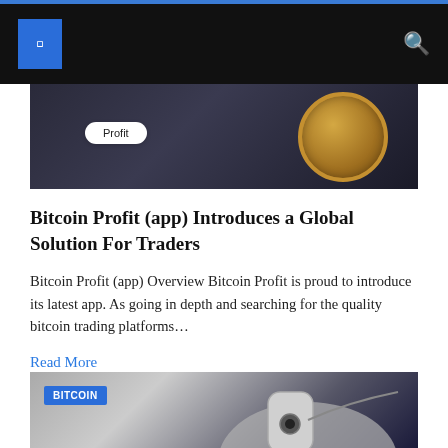[Figure (photo): Dark background image with 'Profit' label on a white rounded pill and a gold coin on the right side]
Bitcoin Profit (app) Introduces a Global Solution For Traders
Bitcoin Profit (app) Overview Bitcoin Profit is proud to introduce its latest app. As going in depth and searching for the quality bitcoin trading platforms…
Read More
[Figure (photo): A hand holding a hardware crypto wallet device (Ledger-style), with a BITCOIN category badge overlay in blue]